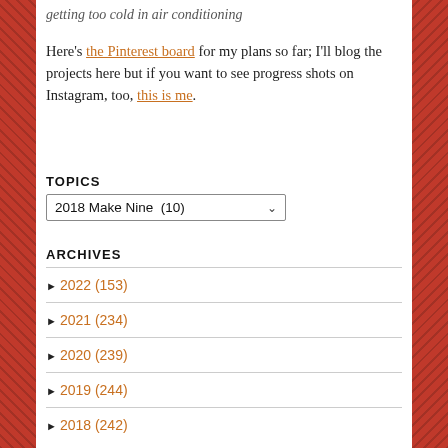getting too cold in air conditioning
Here's the Pinterest board for my plans so far; I'll blog the projects here but if you want to see progress shots on Instagram, too, this is me.
TOPICS
2018 Make Nine  (10)
ARCHIVES
► 2022 (153)
► 2021 (234)
► 2020 (239)
► 2019 (244)
► 2018 (242)